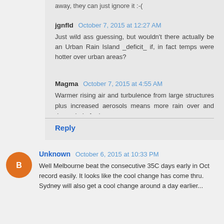away, they can just ignore it :-(
jgnfld  October 7, 2015 at 12:27 AM
Just wild ass guessing, but wouldn't there actually be an Urban Rain Island _deficit_ if, in fact temps were hotter over urban areas?
Magma  October 7, 2015 at 4:55 AM
Warmer rising air and turbulence from large structures plus increased aerosols means more rain over and downwind of urban areas.
Reply
Unknown  October 6, 2015 at 10:33 PM
Well Melbourne beat the consecutive 35C days early in Oct record easily. It looks like the cool change has come thru. Sydney will also get a cool change around a day earlier...